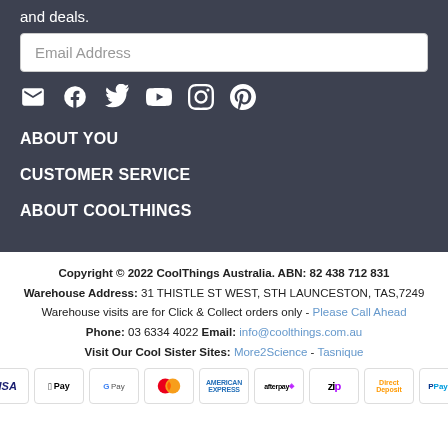and deals.
[Figure (screenshot): Email Address input field]
[Figure (infographic): Social media icons: email, Facebook, Twitter, YouTube, Instagram, Pinterest]
ABOUT YOU
CUSTOMER SERVICE
ABOUT COOLTHINGS
Copyright © 2022 CoolThings Australia. ABN: 82 438 712 831
Warehouse Address: 31 THISTLE ST WEST, STH LAUNCESTON, TAS,7249
Warehouse visits are for Click & Collect orders only - Please Call Ahead
Phone: 03 6334 4022 Email: info@coolthings.com.au
Visit Our Cool Sister Sites: More2Science - Tasnique
[Figure (infographic): Payment method badges: VISA, Apple Pay, Google Pay, Mastercard, American Express, Afterpay, Zip, Direct Deposit, PayPal]